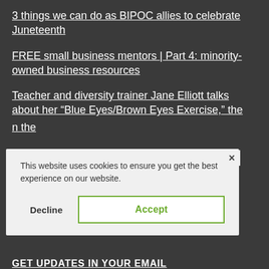3 things we can do as BIPOC allies to celebrate Juneteenth
FREE small business mentors | Part 4: minority-owned business resources
Teacher and diversity trainer Jane Elliott talks about her “Blue Eyes/Brown Eyes Exercise,” the [partially obscured] the
This website uses cookies to ensure you get the best experience on our website.
Decline
Accept
GET UPDATES IN YOUR EMAIL